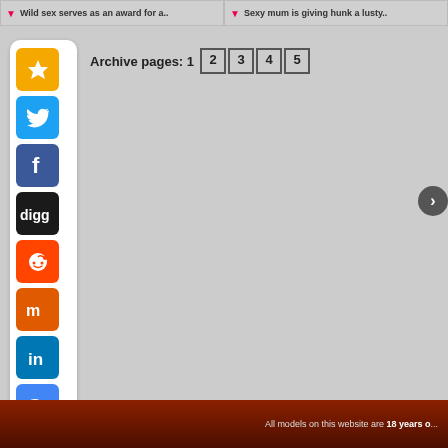Wild sex serves as an award for a..
Sexy mum is giving hunk a lusty..
Archive pages: 1 2 3 4 5
[Figure (infographic): Social media sharing sidebar with icons: Favorites (star), Twitter, Facebook, Digg, Reddit, Mixx, LinkedIn, Google+, Plus]
All models on this website are 18 years o..